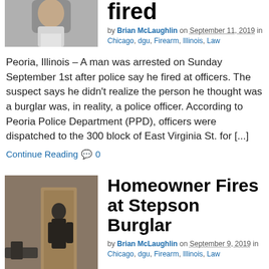[Figure (photo): Partial photo of a man, cropped at top, showing face/neck area]
fired
by Brian McLaughlin on September 11, 2019 in Chicago, dgu, Firearm, Illinois, Law
Peoria, Illinois – A man was arrested on Sunday September 1st after police say he fired at officers. The suspect says he didn't realize the person he thought was a burglar was, in reality, a police officer. According to Peoria Police Department (PPD), officers were dispatched to the 300 block of East Virginia St. for [...]
Continue Reading 💬 0
[Figure (photo): Photo of a hallway interior, person visible with a gun in foreground]
Homeowner Fires at Stepson Burglar
by Brian McLaughlin on September 9, 2019 in Chicago, dgu, Firearm, Illinois, Law